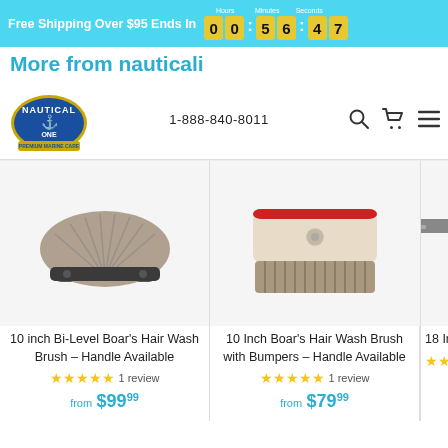Free Shipping Over $95 Ends In 00:56:47
More from nauticali
[Figure (logo): Nautical One Premium Marine Care logo — circular badge with anchor icon]
1-888-840-8011
[Figure (photo): 10 inch Bi-Level Boar's Hair Wash Brush product photo]
10 inch Bi-Level Boar's Hair Wash Brush – Handle Available
★★★★★ 1 review
from $99.99
[Figure (photo): 10 Inch Boar's Hair Wash Brush with Bumpers product photo]
10 Inch Boar's Hair Wash Brush with Bumpers – Handle Available
★★★★★ 1 review
from $79.99
[Figure (photo): 18 Inch Blade partial product photo (cropped)]